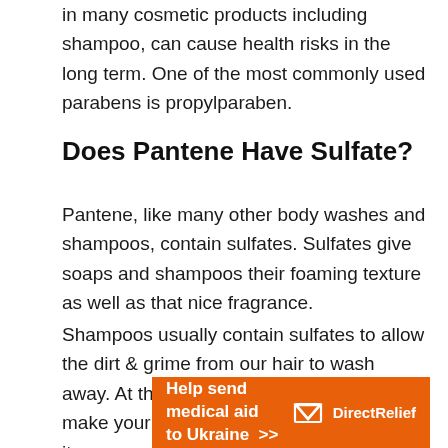in many cosmetic products including shampoo, can cause health risks in the long term. One of the most commonly used parabens is propylparaben.
Does Pantene Have Sulfate?
Pantene, like many other body washes and shampoos, contain sulfates. Sulfates give soaps and shampoos their foaming texture as well as that nice fragrance.
Shampoos usually contain sulfates to allow the dirt & grime from our hair to wash away. At the same time, this process can make your hair feel dry and frizzy because it removes natural oils.
[Figure (infographic): Orange advertisement banner reading 'Help send medical aid to Ukraine >>' with DirectRelief logo on the right.]